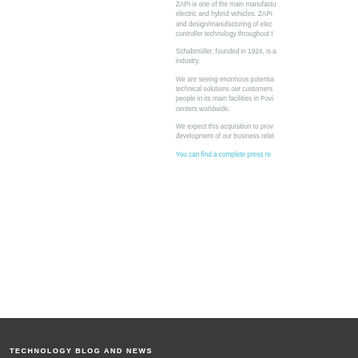ZAPI is one of the main manufacturers of electric and hybrid vehicles. ZAPI and design/manufacturing of electric controller technology throughout t
Schabmüller, founded in 1924, is a industry.
We are seeing enormous potential technical solutions our customers people in its main facilities in Povi centers worldwide.
We expect this acquisition to prov development of our business relat
You can find a complete press re
TECHNOLOGY BLOG AND NEWS